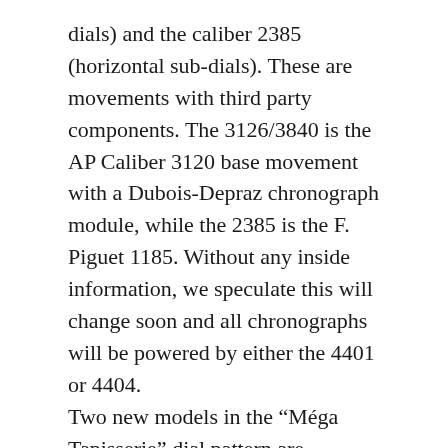dials) and the caliber 2385 (horizontal sub-dials). These are movements with third party components. The 3126/3840 is the AP Caliber 3120 base movement with a Dubois-Depraz chronograph module, while the 2385 is the F. Piguet 1185. Without any inside information, we speculate this will change soon and all chronographs will be powered by either the 4401 or 4404. Two new models in the “Méga Tapisserie” dial pattern are introduced. One in a stainless steel case, and the other in a titanium case.
The stainless steel model sports a light blue dial with “Méga Tapisserie” pattern – first introduced in the Royal Oak Offshore collection